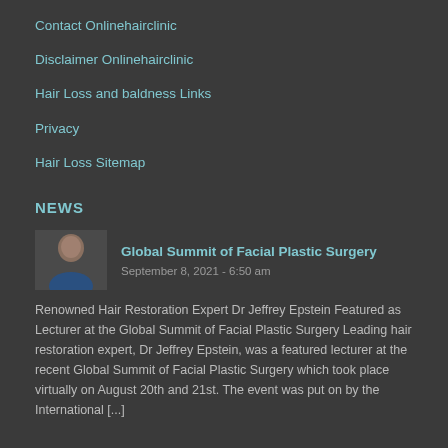Contact Onlinehairclinic
Disclaimer Onlinehairclinic
Hair Loss and baldness Links
Privacy
Hair Loss Sitemap
NEWS
[Figure (photo): Thumbnail photo of a person, presumably Dr Jeffrey Epstein]
Global Summit of Facial Plastic Surgery
September 8, 2021 - 6:50 am
Renowned Hair Restoration Expert Dr Jeffrey Epstein Featured as Lecturer at the Global Summit of Facial Plastic Surgery Leading hair restoration expert, Dr Jeffrey Epstein, was a featured lecturer at the recent Global Summit of Facial Plastic Surgery which took place virtually on August 20th and 21st. The event was put on by the International [...]